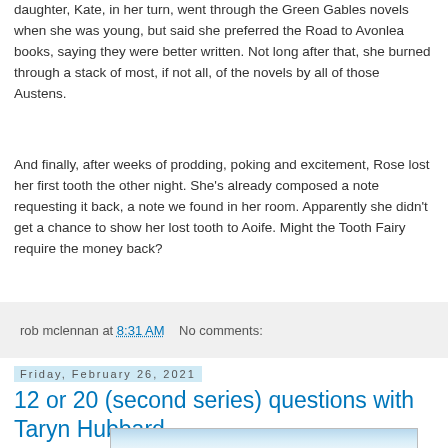daughter, Kate, in her turn, went through the Green Gables novels when she was young, but said she preferred the Road to Avonlea books, saying they were better written. Not long after that, she burned through a stack of most, if not all, of the novels by all of those Austens.
And finally, after weeks of prodding, poking and excitement, Rose lost her first tooth the other night. She's already composed a note requesting it back, a note we found in her room. Apparently she didn't get a chance to show her lost tooth to Aoife. Might the Tooth Fairy require the money back?
rob mclennan at 8:31 AM   No comments:
Friday, February 26, 2021
12 or 20 (second series) questions with Taryn Hubbard
[Figure (photo): Partial photo of a person, cropped at bottom of page, showing sky and top of head]